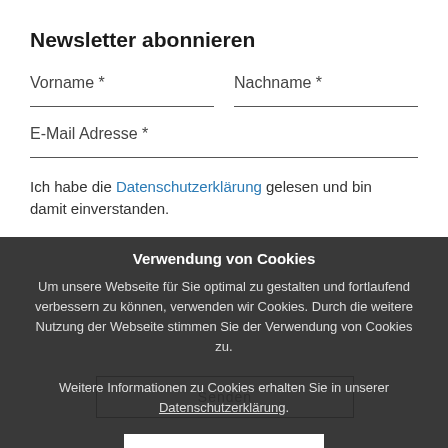Newsletter abonnieren
Vorname *
Nachname *
E-Mail Adresse *
Ich habe die Datenschutzerklärung gelesen und bin damit einverstanden.
Verwendung von Cookies
Um unsere Webseite für Sie optimal zu gestalten und fortlaufend verbessern zu können, verwenden wir Cookies. Durch die weitere Nutzung der Webseite stimmen Sie der Verwendung von Cookies zu.

Weitere Informationen zu Cookies erhalten Sie in unserer Datenschutzerklärung.
OK
Über uns
Impressum
Rechtliche Hinweise
Datenschutz